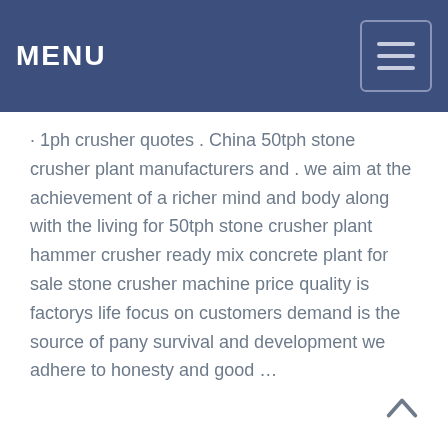MENU
· 1ph crusher quotes . China 50tph stone crusher plant manufacturers and . we aim at the achievement of a richer mind and body along with the living for 50tph stone crusher plant hammer crusher ready mix concrete plant for sale stone crusher machine price quality is factorys life focus on customers demand is the source of pany survival and development we adhere to honesty and good …